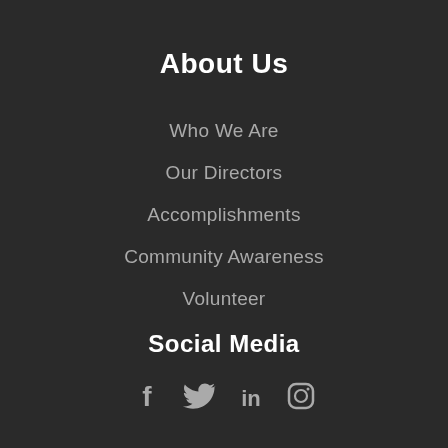About Us
Who We Are
Our Directors
Accomplishments
Community Awareness
Volunteer
Social Media
[Figure (infographic): Social media icons: Facebook, Twitter, LinkedIn, Instagram]